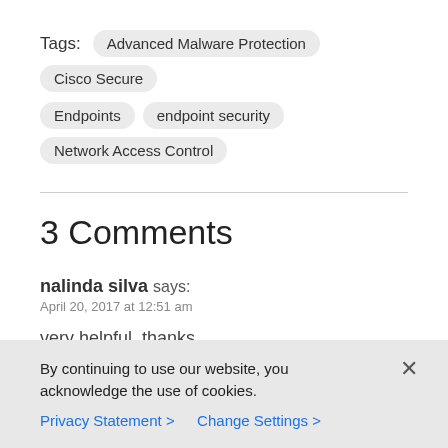Tags: Advanced Malware Protection  Cisco Secure  Endpoints  endpoint security  Network Access Control
3 Comments
nalinda silva says:
April 20, 2017 at 12:51 am
very helpful ,thanks
By continuing to use our website, you acknowledge the use of cookies.
Privacy Statement >   Change Settings >